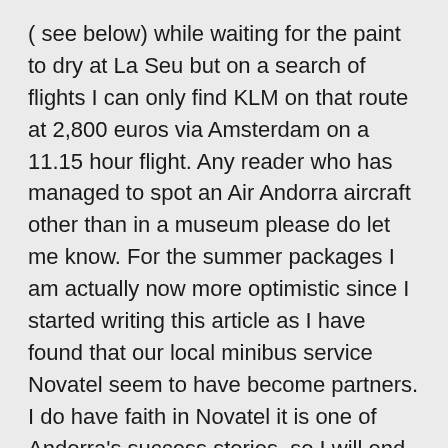( see below) while waiting for the paint to dry at La Seu but on a search of flights I can only find KLM on that route at 2,800 euros via Amsterdam on a 11.15 hour flight. Any reader who has managed to spot an Air Andorra aircraft other than in a museum please do let me know. For the summer packages I am actually now more optimistic since I started writing this article as I have found that our local minibus service Novatel seem to have become partners. I do have faith in Novatel it is one of Andorra's success stories, so I will end with some happy advertising for these packages:  Summer sale now on...